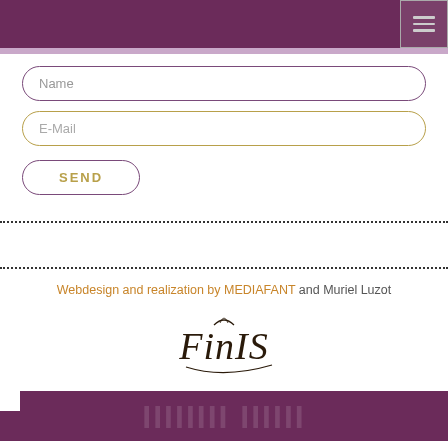Navigation menu header bar with hamburger icon
Name
E-Mail
SEND
Webdesign and realization by MEDIAFANT and Muriel Luzot
[Figure (illustration): Finis calligraphic text/logo in stylized handwritten script]
Dark purple footer bar with faint background text